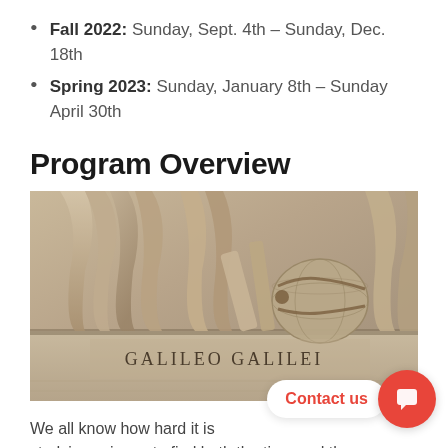Fall 2022: Sunday, Sept. 4th – Sunday, Dec. 18th
Spring 2023: Sunday, January 8th – Sunday April 30th
Program Overview
[Figure (photo): Close-up photograph of the base of a marble statue inscribed with 'GALILEO GALILEI', showing draped robes and a globe]
We all know how hard it is studying science to find both the time and the right courses in a study abroad program. This